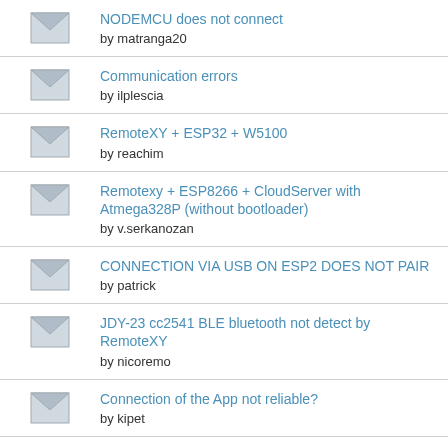NODEMCU does not connect
by matranga20
Communication errors
by ilplescia
RemoteXY + ESP32 + W5100
by reachim
Remotexy + ESP8266 + CloudServer with Atmega328P (without bootloader)
by v.serkanozan
CONNECTION VIA USB ON ESP2 DOES NOT PAIR
by patrick
JDY-23 cc2541 BLE bluetooth not detect by RemoteXY
by nicoremo
Connection of the App not reliable?
by kipet
(partial, cut off)